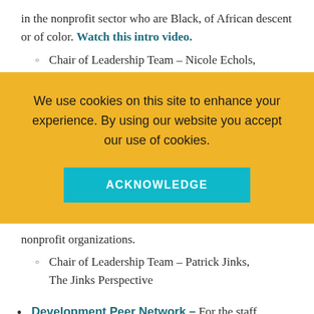in the nonprofit sector who are Black, of African descent or of color. Watch this intro video.
Chair of Leadership Team - Nicole Echols,
We use cookies on this site to enhance your experience. By using our website you accept our use of cookies.
ACKNOWLEDGE
nonprofit organizations.
Chair of Leadership Team - Patrick Jinks, The Jinks Perspective
Development Peer Network - For the staff "making the asks", writing the grants, finding the resources to keep the mission going.
Co Chairs of Leadership Team - Bryson